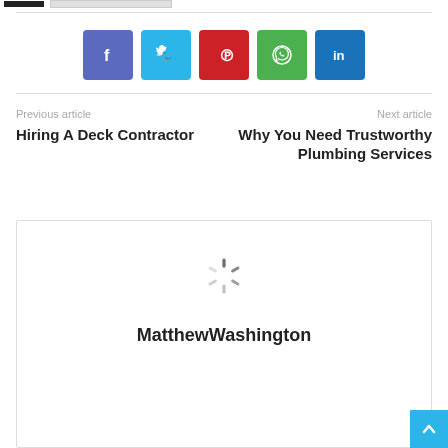[Figure (infographic): Row of social media share buttons: Facebook (blue-purple), Twitter (light blue), Pinterest (red), WhatsApp (green), LinkedIn (dark blue)]
Previous article
Hiring A Deck Contractor
Next article
Why You Need Trustworthy Plumbing Services
[Figure (illustration): Loading spinner (animated circular loader graphic)]
MatthewWashington